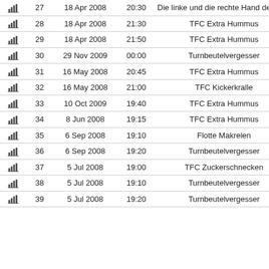|  | # | Date | Time | Name |
| --- | --- | --- | --- | --- |
| [chart] | 27 | 18 Apr 2008 | 20:30 | Die linke und die rechte Hand des |
| [chart] | 28 | 18 Apr 2008 | 21:30 | TFC Extra Hummus |
| [chart] | 29 | 18 Apr 2008 | 21:50 | TFC Extra Hummus |
| [chart] | 30 | 29 Nov 2009 | 00:00 | Turnbeutelvergesser |
| [chart] | 31 | 16 May 2008 | 20:45 | TFC Extra Hummus |
| [chart] | 32 | 16 May 2008 | 21:00 | TFC Kickerkralle |
| [chart] | 33 | 10 Oct 2009 | 19:40 | TFC Extra Hummus |
| [chart] | 34 | 8 Jun 2008 | 19:15 | TFC Extra Hummus |
| [chart] | 35 | 6 Sep 2008 | 19:10 | Flotte Makrelen |
| [chart] | 36 | 6 Sep 2008 | 19:20 | Turnbeutelvergesser |
| [chart] | 37 | 5 Jul 2008 | 19:00 | TFC Zuckerschnecken |
| [chart] | 38 | 5 Jul 2008 | 19:10 | Turnbeutelvergesser |
| [chart] | 39 | 5 Jul 2008 | 19:20 | Turnbeutelvergesser |